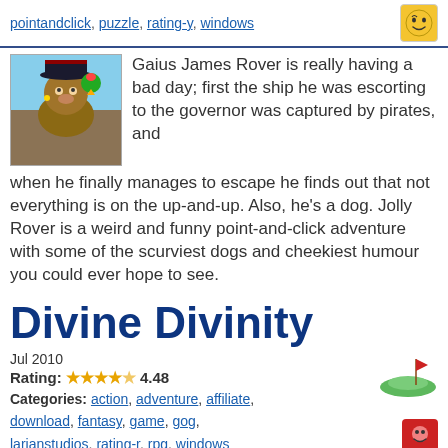pointandclick, puzzle, rating-y, windows
[Figure (illustration): Yellow smiley face icon with raised eyebrow]
[Figure (illustration): Game thumbnail showing a dog character dressed as a pirate with a parrot]
Gaius James Rover is really having a bad day; first the ship he was escorting to the governor was captured by pirates, and when he finally manages to escape he finds out that not everything is on the up-and-up. Also, he's a dog. Jolly Rover is a weird and funny point-and-click adventure with some of the scurviest dogs and cheekiest humour you could ever hope to see.
Divine Divinity
Jul 2010
Rating: 4.48
Categories: action, adventure, affiliate, download, fantasy, game, gog, larianstudios, rating-r, rpg, windows
[Figure (illustration): Golf/island icon with flag]
[Figure (illustration): Red icon with face]
[Figure (illustration): Divine Divinity game cover showing fantasy artwork]
Divine Divinity is a classic action RPG that borrows a few style points from the Diablo series. Despite its appearance, this isn't a game for "serious" role playing fans, though it still tells a fun story and features a lot of